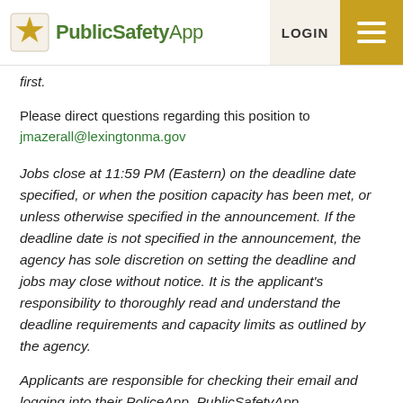PublicSafetyApp | LOGIN | Menu
first.
Please direct questions regarding this position to jmazerall@lexingtonma.gov
Jobs close at 11:59 PM (Eastern) on the deadline date specified, or when the position capacity has been met, or unless otherwise specified in the announcement. If the deadline date is not specified in the announcement, the agency has sole discretion on setting the deadline and jobs may close without notice. It is the applicant's responsibility to thoroughly read and understand the deadline requirements and capacity limits as outlined by the agency.
Applicants are responsible for checking their email and logging into their PoliceApp, PublicSafetyApp,